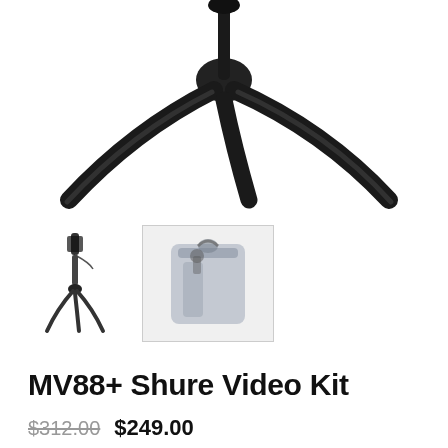[Figure (photo): Close-up photo of a black tripod base with three legs splayed outward, viewed from above, on a white background]
[Figure (photo): Small thumbnail of a full tripod with a microphone mounted on top, on white background]
[Figure (photo): Thumbnail of a carrying case/bag in grey-blue color inside a square box with light border, showing a camera or microphone kit]
MV88+ Shure Video Kit
$312.00 $249.00